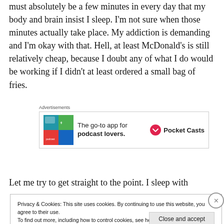must absolutely be a few minutes in every day that my body and brain insist I sleep. I'm not sure when those minutes actually take place. My addiction is demanding and I'm okay with that. Hell, at least McDonald's is still relatively cheap, because I doubt any of what I do would be working if I didn't at least ordered a small bag of fries.
[Figure (infographic): Pocket Casts advertisement: 'The go-to app for podcast lovers.' with app icon and Pocket Casts logo]
Let me try to get straight to the point. I sleep with
Privacy & Cookies: This site uses cookies. By continuing to use this website, you agree to their use.
To find out more, including how to control cookies, see here: Cookie Policy